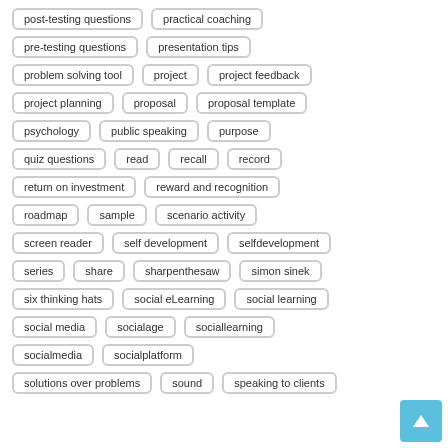post-testing questions
practical coaching
pre-testing questions
presentation tips
problem solving tool
project
project feedback
project planning
proposal
proposal template
psychology
public speaking
purpose
quiz questions
read
recall
record
return on investment
reward and recognition
roadmap
sample
scenario activity
screen reader
self development
selfdevelopment
series
share
sharpenthesaw
simon sinek
six thinking hats
social eLearning
social learning
social media
socialage
sociallearning
socialmedia
socialplatform
solutions over problems
sound
speaking to clients